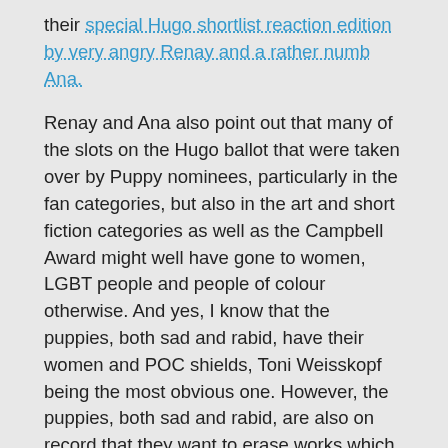their special Hugo shortlist reaction edition by very angry Renay and a rather numb Ana.
Renay and Ana also point out that many of the slots on the Hugo ballot that were taken over by Puppy nominees, particularly in the fan categories, but also in the art and short fiction categories as well as the Campbell Award might well have gone to women, LGBT people and people of colour otherwise. And yes, I know that the puppies, both sad and rabid, have their women and POC shields, Toni Weisskopf being the most obvious one. However, the puppies, both sad and rabid, are also on record that they want to erase works which they dislike – often works by women, POC and LGBT writers, which privilege emotions, characterisation and the experiences of women – from the genre altogther. They don't just want to protect women, they want to use And